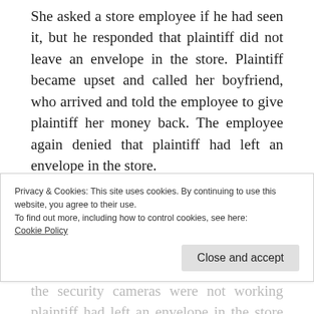She asked a store employee if he had seen it, but he responded that plaintiff did not leave an envelope in the store. Plaintiff became upset and called her boyfriend, who arrived and told the employee to give plaintiff her money back. The employee again denied that plaintiff had left an envelope in the store.
Plaintiff then called the police. When police officers arrived, they asked if the security
Privacy & Cookies: This site uses cookies. By continuing to use this website, you agree to their use.
To find out more, including how to control cookies, see here:
Cookie Policy
Close and accept
the security cameras were not working plaintiff had left an envelope in the store of